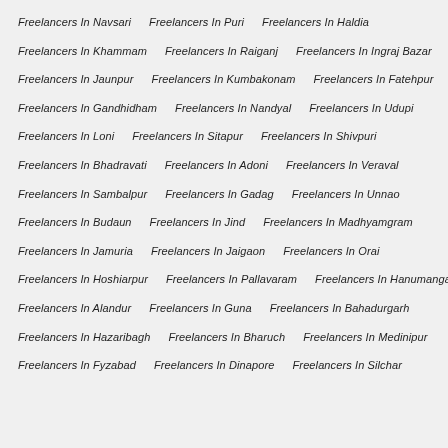Freelancers In Navsari   Freelancers In Puri   Freelancers In Haldia
Freelancers In Khammam   Freelancers In Raiganj   Freelancers In Ingraj Bazar
Freelancers In Jaunpur   Freelancers In Kumbakonam   Freelancers In Fatehpur
Freelancers In Gandhidham   Freelancers In Nandyal   Freelancers In Udupi
Freelancers In Loni   Freelancers In Sitapur   Freelancers In Shivpuri
Freelancers In Bhadravati   Freelancers In Adoni   Freelancers In Veraval
Freelancers In Sambalpur   Freelancers In Gadag   Freelancers In Unnao
Freelancers In Budaun   Freelancers In Jind   Freelancers In Madhyamgram
Freelancers In Jamuria   Freelancers In Jaigaon   Freelancers In Orai
Freelancers In Hoshiarpur   Freelancers In Pallavaram   Freelancers In Hanumangarh
Freelancers In Alandur   Freelancers In Guna   Freelancers In Bahadurgarh
Freelancers In Hazaribagh   Freelancers In Bharuch   Freelancers In Medinipur
Freelancers In Fyzabad   Freelancers In Dinapore   Freelancers In Silchar